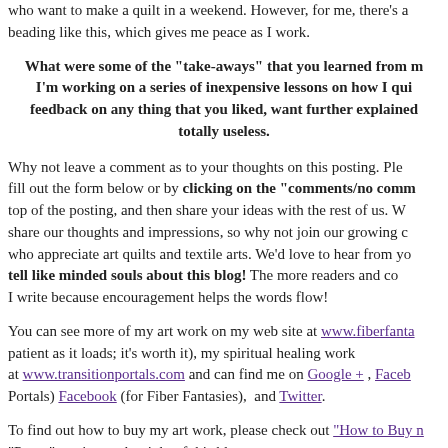who want to make a quilt in a weekend. However, for me, there's a beading like this, which gives me peace as I work.
What were some of the "take-aways" that you learned from making this quilt? I'm working on a series of inexpensive lessons on how I quilt and would love feedback on any thing that you liked, want further explained, or thought was totally useless.
Why not leave a comment as to your thoughts on this posting. Please fill out the form below or by clicking on the "comments/no comments" at the top of the posting, and then share your ideas with the rest of us. We all share our thoughts and impressions, so why not join our growing community who appreciate art quilts and textile arts. We'd love to hear from you and tell like minded souls about this blog! The more readers and comments I write because encouragement helps the words flow!
You can see more of my art work on my web site at www.fiberfanta... (patient as it loads; it's worth it), my spiritual healing work at www.transitionportals.com and can find me on Google + , Facebook (Transition Portals) Facebook (for Fiber Fantasies), and Twitter.
To find out how to buy my art work, please check out "How to Buy my Art" in the "Pages" section to the right of this blog.